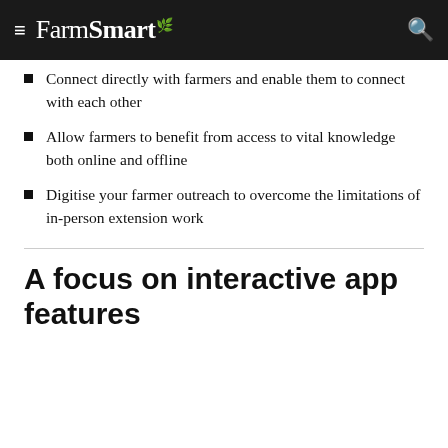FarmSmart
Connect directly with farmers and enable them to connect with each other
Allow farmers to benefit from access to vital knowledge both online and offline
Digitise your farmer outreach to overcome the limitations of in-person extension work
A focus on interactive app features